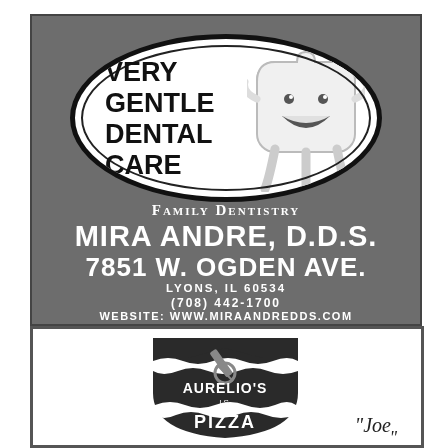[Figure (logo): Dental office advertisement for Mira Andre D.D.S. with dark gray background, oval logo with 'Very Gentle Dental Care' text and cartoon tooth mascot, plus contact information.]
[Figure (logo): Aurelio's Pizza advertisement with shield/crest logo and 'Joe' text visible.]